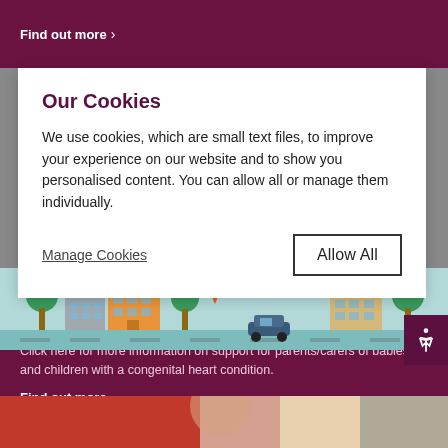Find out more ›
Our Cookies
We use cookies, which are small text files, to improve your experience on our website and to show you personalised content. You can allow all or manage them individually.
Manage Cookies
Allow All
[Figure (illustration): City illustration showing buildings, trees, a car and map location pins in a flat design style]
Support for Parents/Carers
Click here for more information on support for parents/carers of babies and children with a congenital heart condition.
Find out more ›
[Figure (photo): Partial photo of a person, warm tones, cropped at bottom of page]